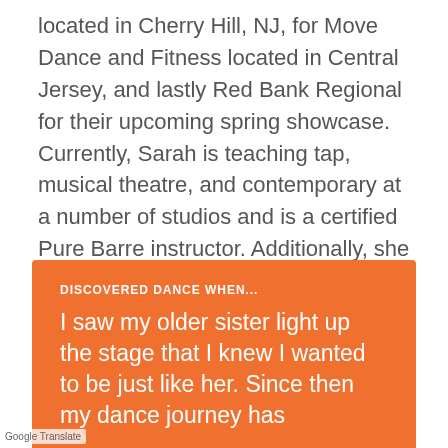located in Cherry Hill, NJ, for Move Dance and Fitness located in Central Jersey, and lastly Red Bank Regional for their upcoming spring showcase. Currently, Sarah is teaching tap, musical theatre, and contemporary at a number of studios and is a certified Pure Barre instructor. Additionally, she is back in school attending Montclair State University as a Physical Education and Health major. Miss Sarah teaches upper level Tap.
DISCOVERED DANCE WHEN...
I saw my older sister light up the stage that I knew I wanted to be just like her. Since then my dance journey has